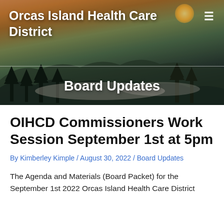Orcas Island Health Care District
Board Updates
OIHCD Commissioners Work Session September 1st at 5pm
By Kimberley Kimple / August 30, 2022 / Board Updates
The Agenda and Materials (Board Packet) for the September 1st 2022 Orcas Island Health Care District